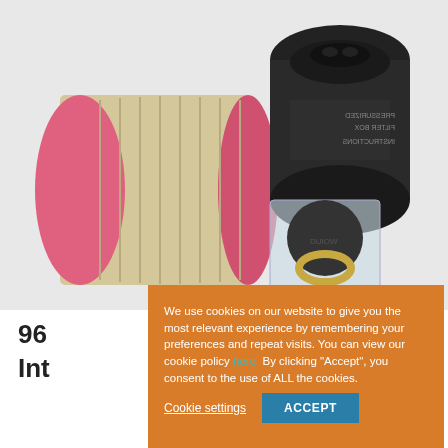[Figure (photo): Automotive filter kit product photo showing a cylindrical air filter with pink endcap, a black oil filter canister, a small bag with a rubber gasket and metal ring, on a white background.]
96
Int
We use cookies on our website to give you the most relevant experience by remembering your preferences and repeat visits. You can view our cookie policy here. By clicking “Accept”, you consent to the use of ALL the cookies.
Cookie settings
ACCEPT